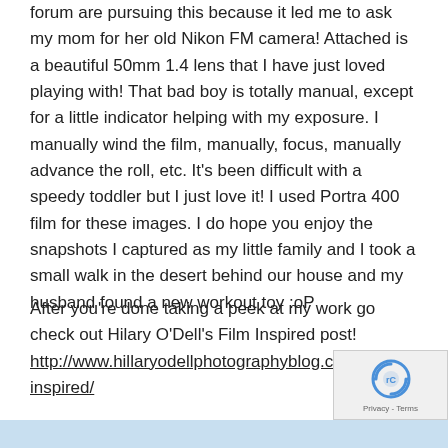forum are pursuing this because it led me to ask my mom for her old Nikon FM camera! Attached is a beautiful 50mm 1.4 lens that I have just loved playing with! That bad boy is totally manual, except for a little indicator helping with my exposure. I manually wind the film, manually, focus, manually advance the roll, etc. It's been difficult with a speedy toddler but I just love it! I used Portra 400 film for these images. I do hope you enjoy the snapshots I captured as my little family and I took a small walk in the desert behind our house and my husband found a new workout toy :oP
After you're done taking a peek at my work go check out Hilary O'Dell's Film Inspired post! http://www.hillaryodellphotographyblog.com/film-inspired/
[Figure (other): Light blue horizontal bar at the bottom of the page, with a reCAPTCHA widget overlay in the bottom-right corner showing the reCAPTCHA logo and 'Privacy - Terms' text.]